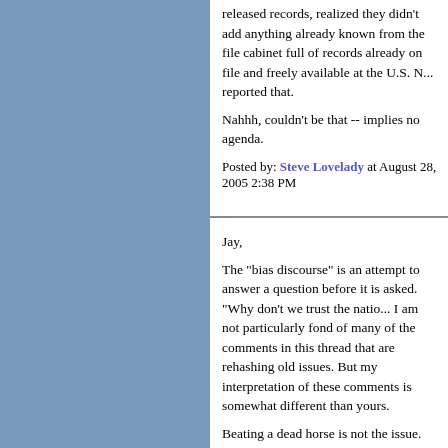released records, realized they didn't add anything already known from the file cabinet full of records already on file and freely available at the U.S. N... reported that.
Nahhh, couldn't be that -- implies no agenda.
Posted by: Steve Lovelady at August 28, 2005 2:38 PM
Jay,
The "bias discourse" is an attempt to answer a question before it is asked. "Why don't we trust the natio... I am not particularly fond of many of the comments in this thread that are rehashing old issues. But my interpretation of these comments is somewhat different than yours.
Beating a dead horse is not the issue. The issue is to give examples of WHY the trust has been lost... professional journalists who want to argue the m... of the specific examples provided are missing t...